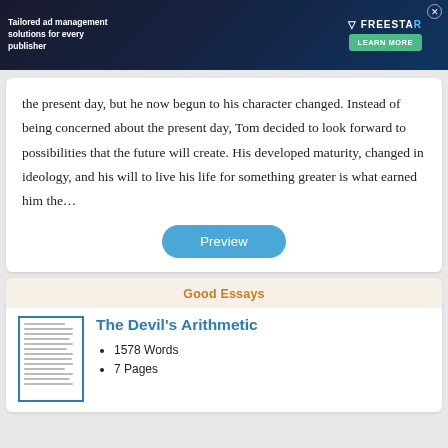[Figure (other): Advertisement banner for Freestar ad management platform with dark background, logo, and Learn More button]
the present day, but he now begun to his character changed. Instead of being concerned about the present day, Tom decided to look forward to possibilities that the future will create. His developed maturity, changed in ideology, and his will to live his life for something greater is what earned him the…
Preview
Good Essays
The Devil's Arithmetic
1578 Words
7 Pages